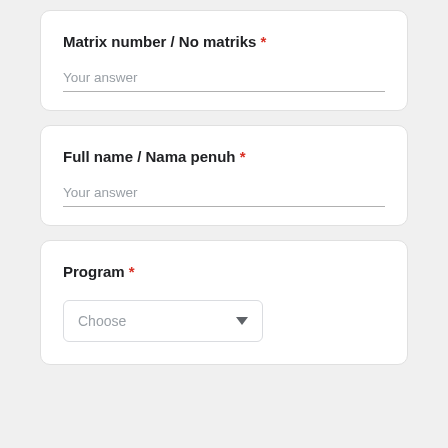Matrix number / No matriks *
Your answer
Full name / Nama penuh *
Your answer
Program *
Choose